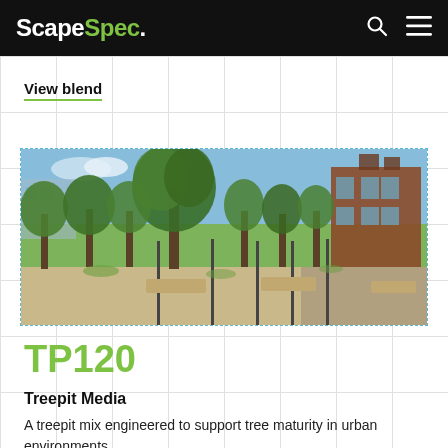ScapeSpec.
View blend
[Figure (photo): Outdoor urban plaza with mature trees, green lawn, stone benches, and a brick building in the background under a blue sky.]
TP120
Treepit Media
A treepit mix engineered to support tree maturity in urban environments.